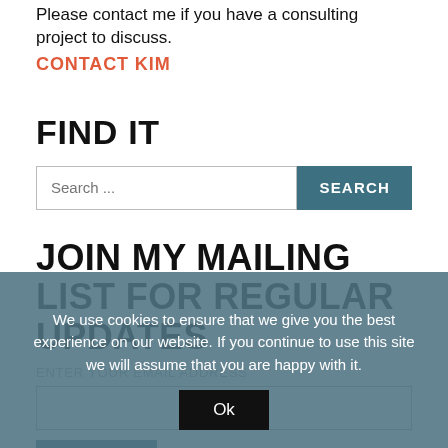Please contact me if you have a consulting project to discuss.
CONTACT KIM
FIND IT
[Figure (screenshot): Search bar with text input field showing placeholder 'Search...' and a teal 'SEARCH' button]
JOIN MY MAILING LIST FOR REGULAR UPDATES
ENTER YOUR EMAIL ADDRESS
SIGN UP
We use cookies to ensure that we give you the best experience on our website. If you continue to use this site we will assume that you are happy with it.
Ok